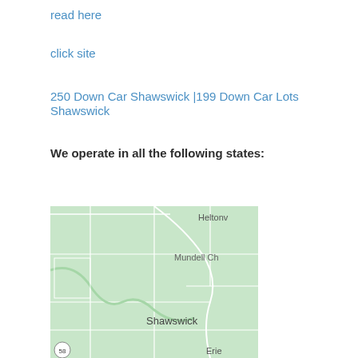read here
click site
250 Down Car Shawswick |199 Down Car Lots Shawswick
We operate in all the following states:
[Figure (map): A map showing the Shawswick area with surrounding regions including Heltonv, Mundell Ch, Erie, and a road marked 58.]